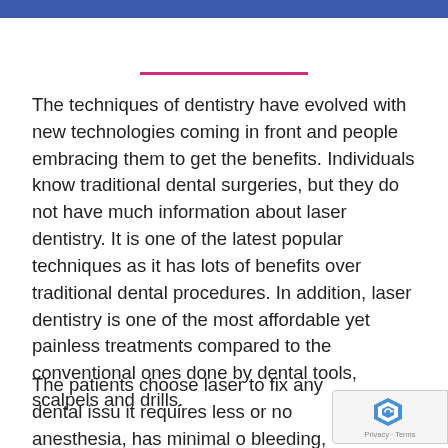The techniques of dentistry have evolved with new technologies coming in front and people embracing them to get the benefits. Individuals know traditional dental surgeries, but they do not have much information about laser dentistry. It is one of the latest popular techniques as it has lots of benefits over traditional dental procedures. In addition, laser dentistry is one of the most affordable yet painless treatments compared to the conventional ones done by dental tools, scalpels and drills.
The patients choose laser to fix any dental issu... it requires less or no anesthesia, has minimal o... bleeding, and the procedure heals faster than con...